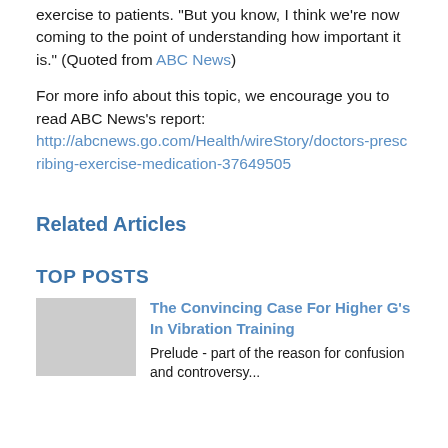exercise to patients. "But you know, I think we're now coming to the point of understanding how important it is." (Quoted from ABC News)
For more info about this topic, we encourage you to read ABC News's report: http://abcnews.go.com/Health/wireStory/doctors-prescribing-exercise-medication-37649505
Related Articles
TOP POSTS
The Convincing Case For Higher G's In Vibration Training
Prelude - part of the reason for confusion and controversy...